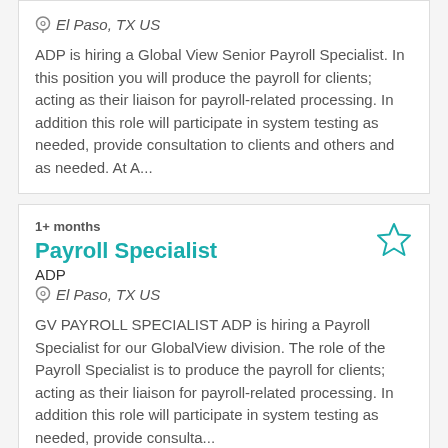El Paso, TX US
ADP is hiring a Global View Senior Payroll Specialist. In this position you will produce the payroll for clients; acting as their liaison for payroll-related processing. In addition this role will participate in system testing as needed, provide consultation to clients and others and as needed. At A...
1+ months
Payroll Specialist
ADP
El Paso, TX US
GV PAYROLL SPECIALIST ADP is hiring a Payroll Specialist for our GlobalView division. The role of the Payroll Specialist is to produce the payroll for clients; acting as their liaison for payroll-related processing. In addition this role will participate in system testing as needed, provide consulta...